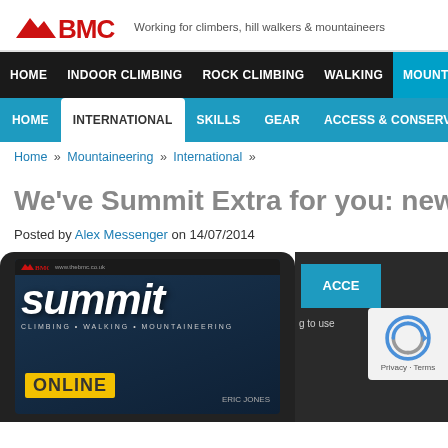BMC – Working for climbers, hill walkers & mountaineers
HOME | INDOOR CLIMBING | ROCK CLIMBING | WALKING | MOUNTAINEERING
HOME | INTERNATIONAL | SKILLS | GEAR | ACCESS & CONSERVATION
Home » Mountaineering » International »
We've Summit Extra for you: new fre
Posted by Alex Messenger on 14/07/2014
[Figure (screenshot): Tablet device showing BMC Summit magazine cover with 'summit' in large white italic text on dark blue background, BMC logo at top, 'CLIMBING • WALKING • MOUNTAINEERING' subtitle, 'ONLINE' in yellow label, and 'ERIC JONES' text. Partially visible dark sidebar on right with blue ACCE box and reCAPTCHA widget showing 'g to use' text and privacy/terms.]